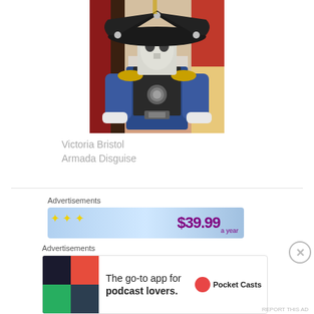[Figure (screenshot): 3D game character in Armada disguise costume: wearing a large black tricorn hat with silver ornaments, white mask face, blue military coat with gold epaulettes, leather chest armor with round medallion, and gauntlets. Background shows a colorful game environment.]
Victoria Bristol
Armada Disguise
Advertisements
[Figure (screenshot): Advertisement banner showing $39.99 a year price with stars and a curved design on a light blue gradient background.]
Advertisements
[Figure (screenshot): Pocket Casts advertisement: 'The go-to app for podcast lovers.' with Pocket Casts logo on the right and colorful tile icons on the left.]